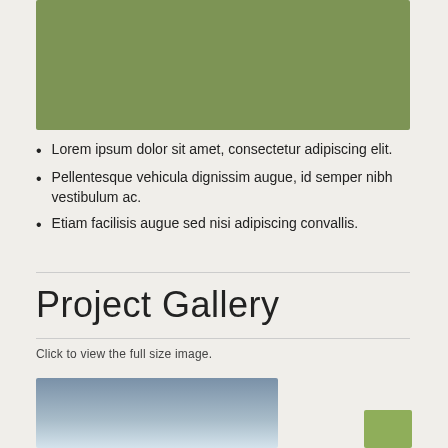[Figure (illustration): Olive green rectangular banner/image placeholder at top of page]
Lorem ipsum dolor sit amet, consectetur adipiscing elit.
Pellentesque vehicula dignissim augue, id semper nibh vestibulum ac.
Etiam facilisis augue sed nisi adipiscing convallis.
Project Gallery
Click to view the full size image.
[Figure (photo): A partially visible rectangular photo with a blue-grey gradient sky, representing a gallery thumbnail image]